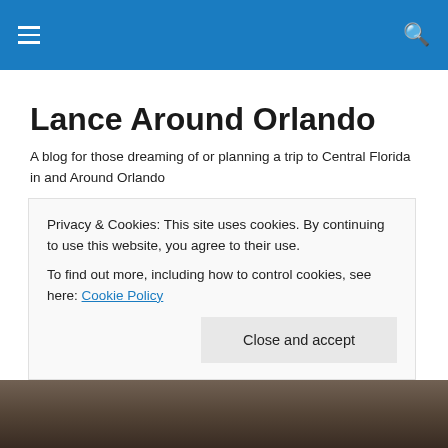Lance Around Orlando
Lance Around Orlando
A blog for those dreaming of or planning a trip to Central Florida in and Around Orlando
FFF 2017 Day 5–Menasche–A Rare and Intimate Look Into the World of Hasidic Judaism
Privacy & Cookies: This site uses cookies. By continuing to use this website, you agree to their use.
To find out more, including how to control cookies, see here: Cookie Policy
[Figure (photo): Photo strip at the bottom of the page showing people, partially visible]